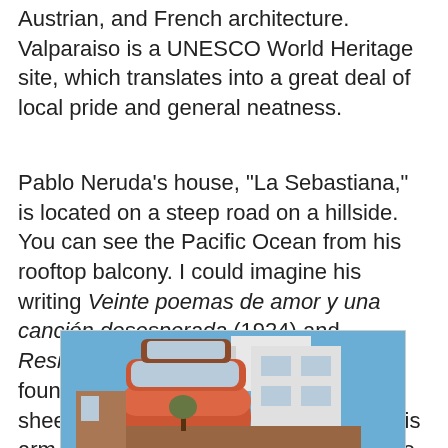Austrian, and French architecture. Valparaiso is a UNESCO World Heritage site, which translates into a great deal of local pride and general neatness.
Pablo Neruda's house, "La Sebastiana," is located on a steep road on a hillside. You can see the Pacific Ocean from his rooftop balcony. I could imagine his writing Veinte poemas de amor y una canción desesperada (1924) and Residencia en la tierra (1931) with a fountain pen in his hand, clean, white sheets of paper in his notebook under his arm, and a stiff ocean breeze on his face.
[Figure (photo): Photo of La Sebastiana, Pablo Neruda's house in Valparaiso — a multi-story building with orange/terracotta lower levels and white upper sections, panoramic windows, under a blue sky.]